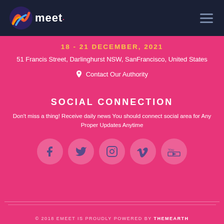[Figure (logo): Emeet conference logo with colorful icon and white text on dark navy header bar with hamburger menu icon on the right]
18 - 21 DECEMBER, 2021
51 Francis Street, Darlinghurst NSW, SanFrancisco, United States
📍 Contact Our Authority
SOCIAL CONNECTION
Don't miss a thing! Receive daily news You should connect social area for Any Proper Updates Anytime
[Figure (infographic): Row of 5 circular social media icons: Facebook, Twitter, Instagram, Vimeo, YouTube]
© 2018 EMEET IS PROUDLY POWERED BY THEMEARTH